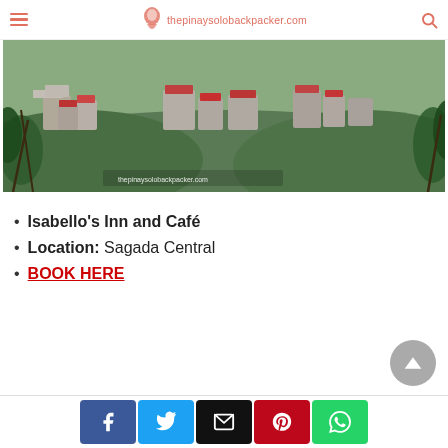thepinaysolobackpacker.com
[Figure (photo): Aerial/hillside view of Sagada town with houses on forested slopes, watermarked with thepinaysolobackpacker.com]
Isabello's Inn and Café
Location: Sagada Central
BOOK HERE
Social share buttons: Facebook, Twitter, Email, Pinterest, WhatsApp